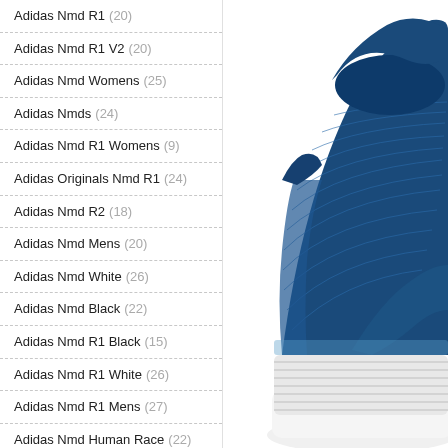Adidas Nmd R1 (20)
Adidas Nmd R1 V2 (20)
Adidas Nmd Womens (25)
Adidas Nmds (24)
Adidas Nmd R1 Womens (9)
Adidas Originals Nmd R1 (24)
Adidas Nmd R2 (18)
Adidas Nmd Mens (20)
Adidas Nmd White (26)
Adidas Nmd Black (22)
Adidas Nmd R1 Black (15)
Adidas Nmd R1 White (26)
Adidas Nmd R1 Mens (27)
Adidas Nmd Human Race (22)
Adidas Nmd Sale (15)
Adidas Hu Nmd (26)
[Figure (photo): Close-up photo of a blue Adidas sneaker (NMD/UltraBoost style) with knit upper and striped midsole, shown on white background, cropped to show heel and collar area]